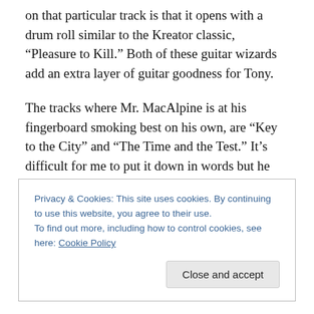on that particular track is that it opens with a drum roll similar to the Kreator classic, “Pleasure to Kill.” Both of these guitar wizards add an extra layer of guitar goodness for Tony.

The tracks where Mr. MacAlpine is at his fingerboard smoking best on his own, are “Key to the City” and “The Time and the Test.” It’s difficult for me to put it down in words but he just totally shreds those two tracks. Obviously, he shreds well on the others as well, “Sacred Wonder” especially. To sum it up, you get more than just
Privacy & Cookies: This site uses cookies. By continuing to use this website, you agree to their use.
To find out more, including how to control cookies, see here: Cookie Policy